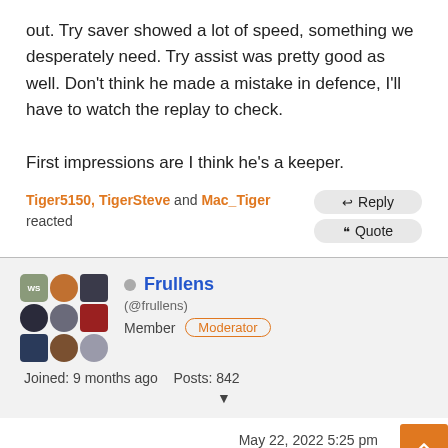out. Try saver showed a lot of speed, something we desperately need. Try assist was pretty good as well. Don't think he made a mistake in defence, I'll have to watch the replay to check.

First impressions are I think he's a keeper.
Tiger5150, TigerSteve and Mac_Tiger reacted
Frullens (@frullens) Member Moderator Joined: 9 months ago Posts: 842
May 22, 2022 5:25 pm
According to Buzz